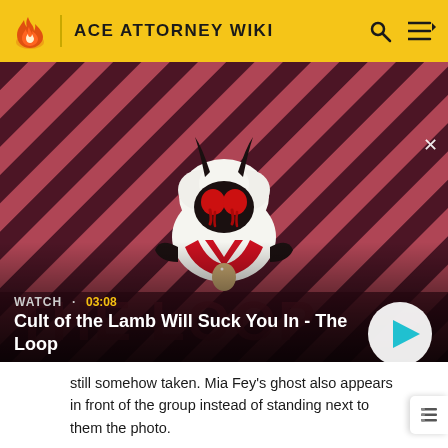ACE ATTORNEY WIKI
[Figure (screenshot): Video thumbnail for 'Cult of the Lamb Will Suck You In - The Loop' showing an animated lamb character with red eyes on a diagonal striped red and purple background. Duration shown as 03:08.]
WATCH · 03:08
Cult of the Lamb Will Suck You In - The Loop
still somehow taken. Mia Fey's ghost also appears in front of the group instead of standing next to them the photo.
Wright does not show Maya the bullet from the Records Room during their farewell at the train